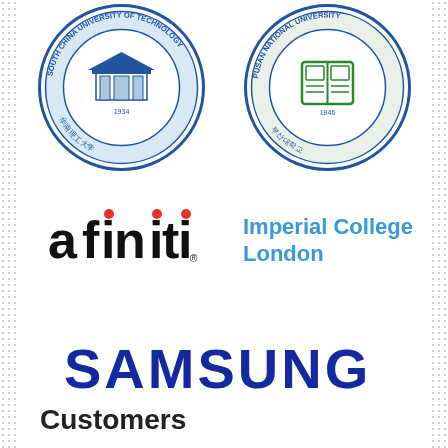[Figure (logo): South China University of Technology circular seal logo, founded 1934, blue and white]
[Figure (logo): Pusan National University circular seal logo, founded 1946, blue and green]
[Figure (logo): Afiniti logo in bold black sans-serif with red dots over i letters]
[Figure (logo): Imperial College London logo in blue text]
[Figure (logo): Samsung logo in bold dark blue capital letters]
Customers